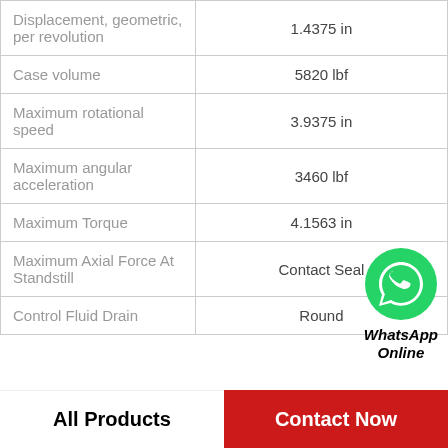| Property | Value |
| --- | --- |
| Displacement, geometric, per revolution | 1.4375 in |
| Case volume | 5820 lbf |
| Maximum rotational speed | 3.9375 in |
| Maximum angular acceleration | 3460 lbf |
| Maximum Torque | 4.1563 in |
| Maximum Axial Force At Standstill | Contact Seal |
| Control Fluid Drain | Round |
[Figure (logo): WhatsApp green circle icon with phone handset]
WhatsApp Online
All Products    Contact Now